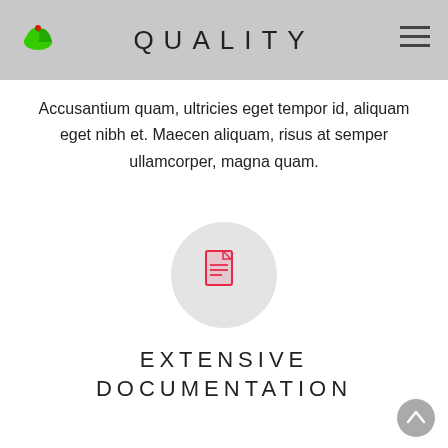QUALITY
Accusantium quam, ultricies eget tempor id, aliquam eget nibh et. Maecen aliquam, risus at semper ullamcorper, magna quam.
[Figure (illustration): Gray circle with a red document/file icon in the center]
EXTENSIVE DOCUMENTATION
Accusantium quam, ultricies eget tempor id, aliquam eget nibh et. Maecen aliquam, risus at semper ullamcorper, magna quam.